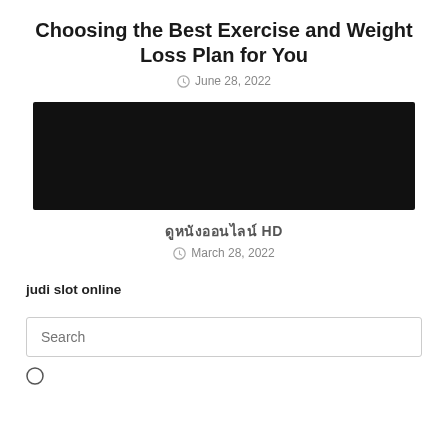Choosing the Best Exercise and Weight Loss Plan for You
June 28, 2022
[Figure (photo): Black/dark image placeholder]
ดูหนังออนไลน์ HD
March 28, 2022
judi slot online
Search